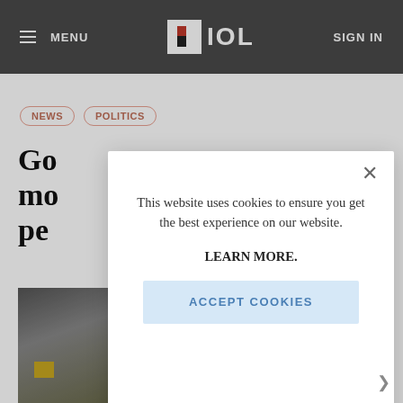MENU | IOL | SIGN IN
NEWS
POLITICS
Go... mo... pe...
[Figure (photo): Partially visible news article photo, dark tones with a gold element]
This website uses cookies to ensure you get the best experience on our website.

LEARN MORE.

ACCEPT COOKIES